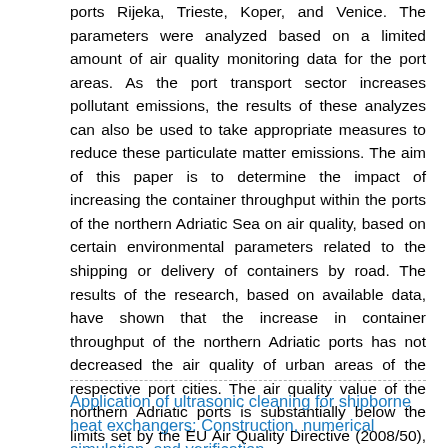ports Rijeka, Trieste, Koper, and Venice. The parameters were analyzed based on a limited amount of air quality monitoring data for the port areas. As the port transport sector increases pollutant emissions, the results of these analyzes can also be used to take appropriate measures to reduce these particulate matter emissions. The aim of this paper is to determine the impact of increasing the container throughput within the ports of the northern Adriatic Sea on air quality, based on certain environmental parameters related to the shipping or delivery of containers by road. The results of the research, based on available data, have shown that the increase in container throughput of the northern Adriatic ports has not decreased the air quality of urban areas of the respective port cities. The air quality value of the northern Adriatic ports is substantially below the limits set by the EU Air Quality Directive (2008/50), thus it does not affect the health of the inhabitants of the analyzed cities.
Application of ultrasonic cleaning for shipborne heat exchangers: Construction, numerical simulation, and verification